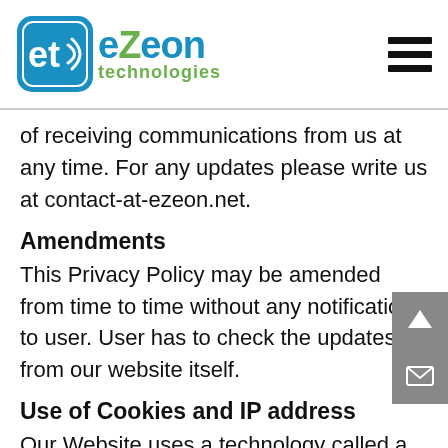eZeon technologies
of receiving communications from us at any time. For any updates please write us at contact-at-ezeon.net.
Amendments
This Privacy Policy may be amended from time to time without any notification to user. User has to check the updates from our website itself.
Use of Cookies and IP address
Our Website uses a technology called a "cookie". A cookie is a piece of information that...